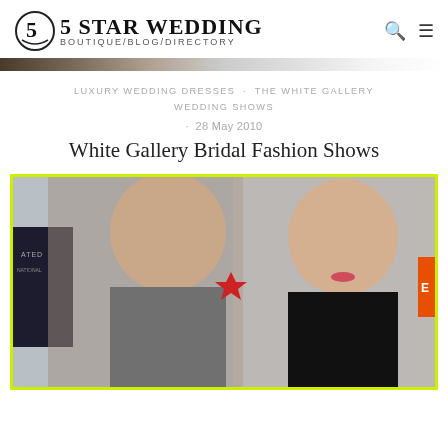5 STAR WEDDING BOUTIQUE/BLOG/DIRECTORY
LUXURY WEDDING DRESSES · THE WHITE GALLERY WEDDING SHOWS
· 28 May 2010
White Gallery Bridal Fashion Shows
[Figure (photo): A man and woman posing together at an event. The man has a beard and short hair; the woman has dark hair and red lipstick. Background shows event banners.]